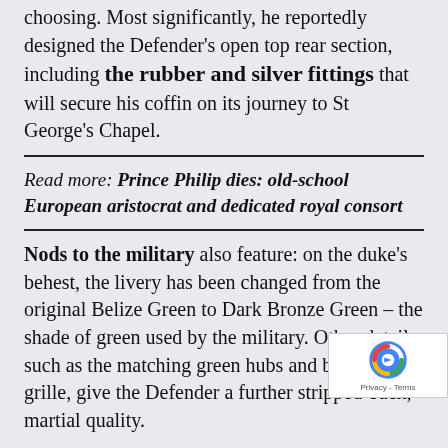choosing. Most significantly, he reportedly designed the Defender's open top rear section, including the rubber and silver fittings that will secure his coffin on its journey to St George's Chapel.
Read more: Prince Philip dies: old-school European aristocrat and dedicated royal consort
Nods to the military also feature: on the duke's behest, the livery has been changed from the original Belize Green to Dark Bronze Green – the shade of green used by the military. Other details, such as the matching green hubs and black front grille, give the Defender a further stripped-back, martial quality.
The last royal funeral was held for the Queen Mother, she died in 2002, during which...